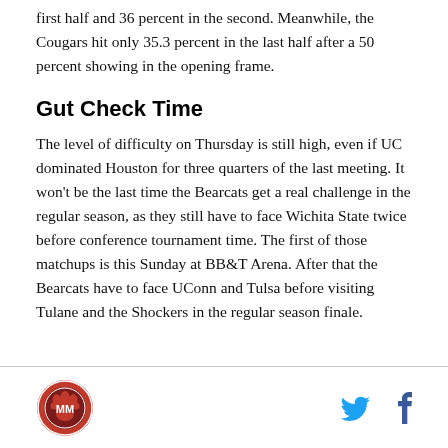first half and 36 percent in the second. Meanwhile, the Cougars hit only 35.3 percent in the last half after a 50 percent showing in the opening frame.
Gut Check Time
The level of difficulty on Thursday is still high, even if UC dominated Houston for three quarters of the last meeting. It won't be the last time the Bearcats get a real challenge in the regular season, as they still have to face Wichita State twice before conference tournament time. The first of those matchups is this Sunday at BB&T Arena. After that the Bearcats have to face UConn and Tulsa before visiting Tulane and the Shockers in the regular season finale.
Logo and social media icons